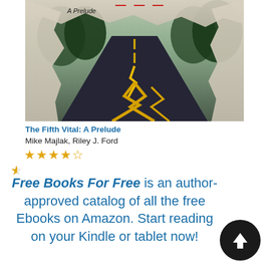[Figure (photo): Book cover of 'The Fifth Vital: A Prelude' showing a dark asphalt road with yellow lightning bolt markings, torn paper effect edges revealing sky and trees, text 'A Prelude' in upper left]
The Fifth Vital: A Prelude
Mike Majlak, Riley J. Ford
★★★★½
Free Books For Free is an author-approved catalog of all the free Ebooks on Amazon. Start reading on your Kindle or tablet now!